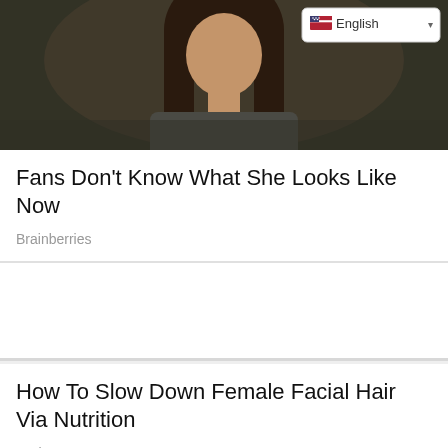[Figure (photo): Photo of a woman with long dark hair wearing a grey/dark outfit, outdoors with blurred natural background. Language selector dropdown showing 'English' with a US flag icon in the upper right corner.]
Fans Don't Know What She Looks Like Now
Brainberries
How To Slow Down Female Facial Hair Via Nutrition
Herbeauty